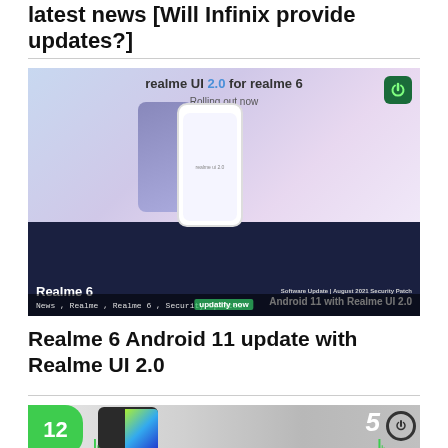latest news [Will Infinix provide updates?]
[Figure (photo): Realme UI 2.0 for Realme 6 promotional banner. Shows two Realme 6 smartphones, one from the back (purple/blue gradient) and one from the front (white). Header text: 'realme UI 2.0 for realme 6 - Rolling out now'. Bottom dark bar shows 'Realme 6' on the left and 'Android 11 with Realme UI 2.0' on the right with 'Software Update | August 2021 Security Patch'. Tags: News, Realme, Realme 6, Security Updates. Watermark: 'updatify now']
Realme 6 Android 11 update with Realme UI 2.0
[Figure (photo): Realme 8i or similar Realme phone promotional image. Shows the number '12' on a green rounded badge on left, a dark Realme smartphone in the center with colorful screen, and a circular power/update icon on the right. Green decorative elements at bottom.]